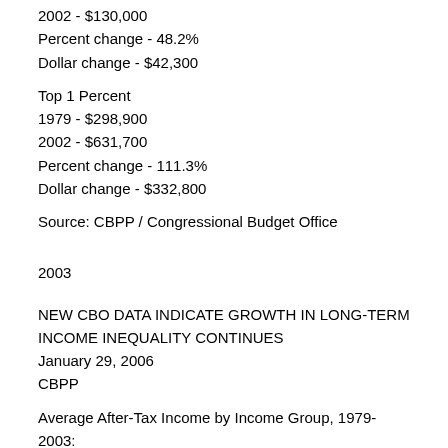2002 - $130,000
Percent change - 48.2%
Dollar change - $42,300
Top 1 Percent
1979 - $298,900
2002 - $631,700
Percent change - 111.3%
Dollar change - $332,800
Source: CBPP / Congressional Budget Office
2003
NEW CBO DATA INDICATE GROWTH IN LONG-TERM INCOME INEQUALITY CONTINUES
January 29, 2006
CBPP
Average After-Tax Income by Income Group, 1979-2003:
(in 2003 dollars)
Lowest fifth
1979 - $13,500
2003 - $14,100